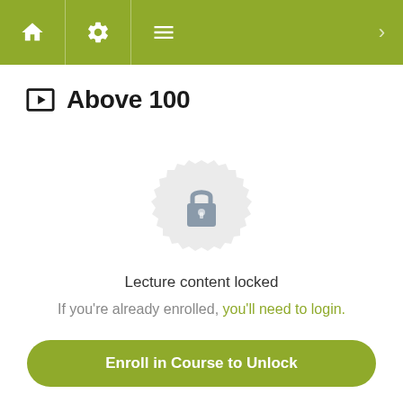Navigation bar with home, settings, menu icons
Above 100
[Figure (illustration): A circular badge/medallion icon with a lock padlock in the center, rendered in light gray tones indicating locked content]
Lecture content locked
If you're already enrolled, you'll need to login.
Enroll in Course to Unlock